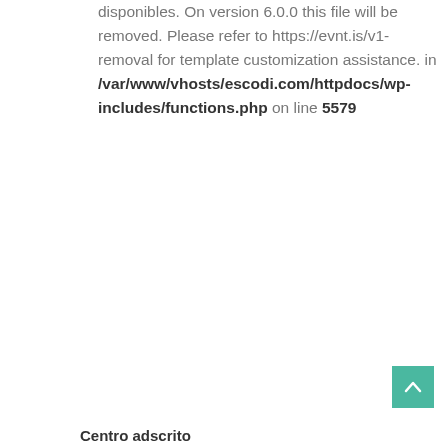disponibles. On version 6.0.0 this file will be removed. Please refer to https://evnt.is/v1-removal for template customization assistance. in /var/www/vhosts/escodi.com/httpdocs/wp-includes/functions.php on line 5579
[Figure (other): Teal/green scroll-to-top button with upward chevron arrow]
Centro adscrito